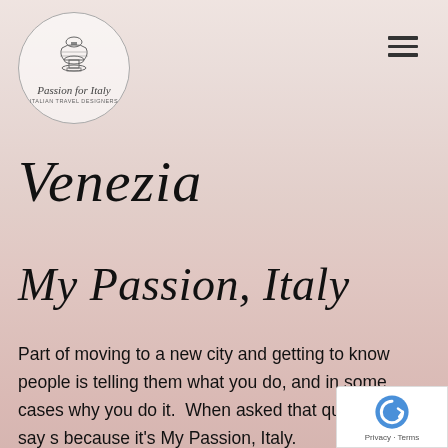[Figure (logo): Passion for Italy - Italian Travel Designers logo in a circular border with an ornate urn illustration and script text]
[Figure (illustration): Three horizontal lines (hamburger menu icon) in upper right corner]
Venezia
My Passion, Italy
Part of moving to a new city and getting to know people is telling them what you do, and in some cases why you do it.  When asked that question, I say s because it's My Passion, Italy.